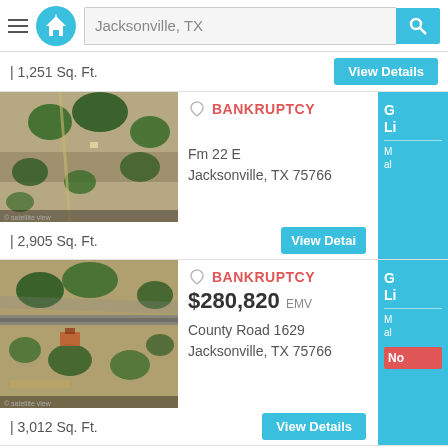[Figure (screenshot): Mobile app header with hamburger menu, home logo, search bar showing Jacksonville TX, and search button]
| 1,251 Sq. Ft.
View Details
[Figure (photo): Aerial satellite view of property at Fm 22 E, Jacksonville TX]
BANKRUPTCY
Fm 22 E
Jacksonville, TX 75766
| 2,905 Sq. Ft.
View Details
[Figure (photo): Aerial satellite view of property at County Road 1629, Jacksonville TX]
BANKRUPTCY
$280,820 EMV
County Road 1629
Jacksonville, TX 75766
| 3,012 Sq. Ft.
View Details